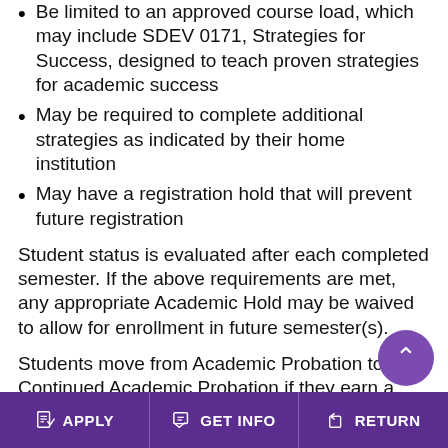Be limited to an approved course load, which may include SDEV 0171, Strategies for Success, designed to teach proven strategies for academic success
May be required to complete additional strategies as indicated by their home institution
May have a registration hold that will prevent future registration
Student status is evaluated after each completed semester. If the above requirements are met, any appropriate Academic Hold may be waived to allow for enrollment in future semester(s).
Students move from Academic Probation to Continued Academic Probation if they earn a minimum semester institutional GPA of 2.0 and whose cumulative institutional GPA remains below 2.0. (See the section on Continued Academic Probation for more
APPLY   GET INFO   RETURN